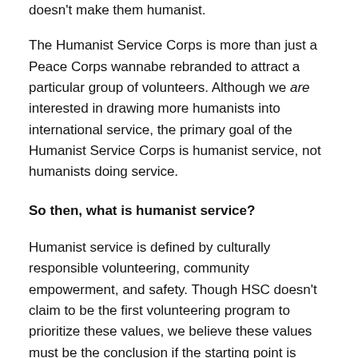doesn't make them humanist.
The Humanist Service Corps is more than just a Peace Corps wannabe rebranded to attract a particular group of volunteers. Although we are interested in drawing more humanists into international service, the primary goal of the Humanist Service Corps is humanist service, not humanists doing service.
So then, what is humanist service?
Humanist service is defined by culturally responsible volunteering, community empowerment, and safety. Though HSC doesn't claim to be the first volunteering program to prioritize these values, we believe these values must be the conclusion if the starting point is humanism.
Culturally Responsible Volunteering